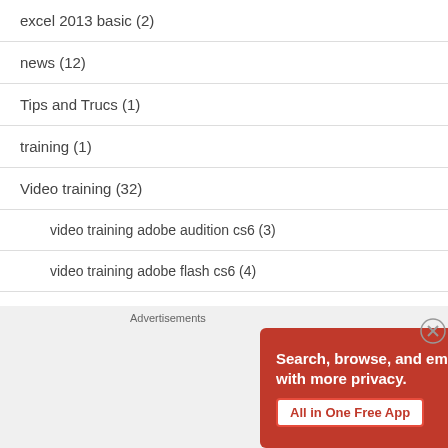excel 2013 basic (2)
news (12)
Tips and Trucs (1)
training (1)
Video training (32)
video training adobe audition cs6 (3)
video training adobe flash cs6 (4)
video training adobe illustrator cs6 (3)
[Figure (screenshot): DuckDuckGo advertisement banner with orange background showing 'Search, browse, and email with more privacy. All in One Free App' with phone graphic]
Advertisements